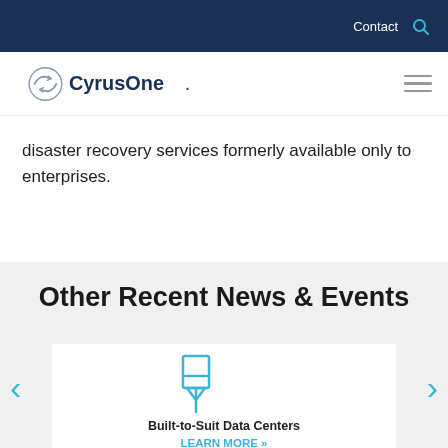Contact 🔍
[Figure (logo): CyrusOne logo with circular arrow icon]
disaster recovery services formerly available only to enterprises.
Other Recent News & Events
[Figure (illustration): Pin/thumbtack icon in cyan/teal color]
Built-to-Suit Data Centers
LEARN MORE »